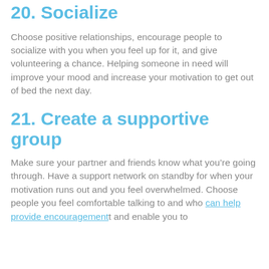20. Socialize
Choose positive relationships, encourage people to socialize with you when you feel up for it, and give volunteering a chance. Helping someone in need will improve your mood and increase your motivation to get out of bed the next day.
21. Create a supportive group
Make sure your partner and friends know what you’re going through. Have a support network on standby for when your motivation runs out and you feel overwhelmed. Choose people you feel comfortable talking to and who can help provide encouragement and enable you to